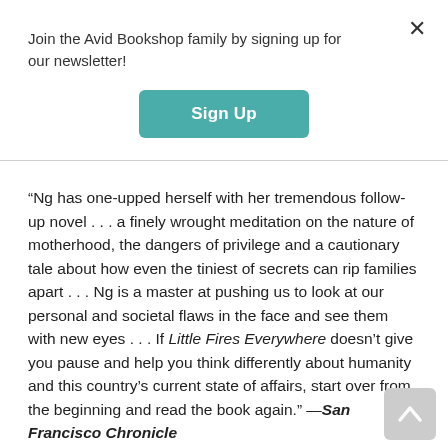Join the Avid Bookshop family by signing up for our newsletter!
Sign Up
“Ng has one-upped herself with her tremendous follow-up novel . . . a finely wrought meditation on the nature of motherhood, the dangers of privilege and a cautionary tale about how even the tiniest of secrets can rip families apart . . . Ng is a master at pushing us to look at our personal and societal flaws in the face and see them with new eyes . . . If Little Fires Everywhere doesn’t give you pause and help you think differently about humanity and this country’s current state of affairs, start over from the beginning and read the book again.” —San Francisco Chronicle
“Stellar . . . Ng is a confident, talented writer, and